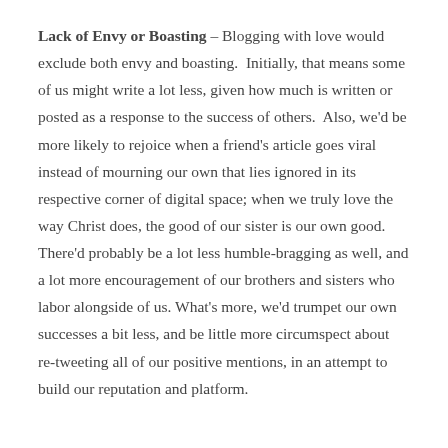Lack of Envy or Boasting – Blogging with love would exclude both envy and boasting. Initially, that means some of us might write a lot less, given how much is written or posted as a response to the success of others. Also, we'd be more likely to rejoice when a friend's article goes viral instead of mourning our own that lies ignored in its respective corner of digital space; when we truly love the way Christ does, the good of our sister is our own good. There'd probably be a lot less humble-bragging as well, and a lot more encouragement of our brothers and sisters who labor alongside of us. What's more, we'd trumpet our own successes a bit less, and be little more circumspect about re-tweeting all of our positive mentions, in an attempt to build our reputation and platform.